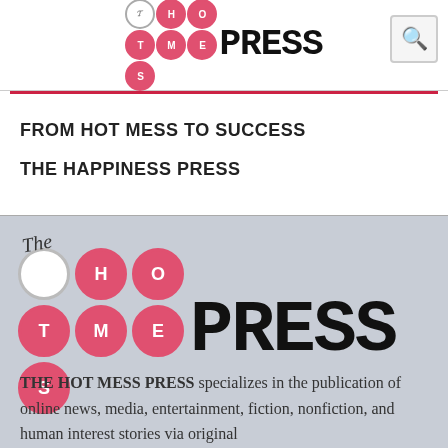THE HOT MESS PRESS
FROM HOT MESS TO SUCCESS
THE HAPPINESS PRESS
[Figure (logo): Hot Mess Press logo — circular letter badges spelling HOT MESS in a 3x2 grid with typewriter-style PRESS text]
THE HOT MESS PRESS specializes in the publication of online news, media, entertainment, fiction, nonfiction, and human interest stories via original